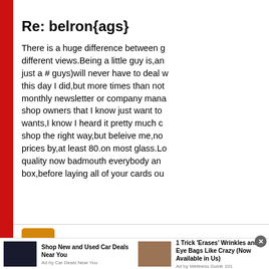Re: belron{ags}
There is a huge difference between g different views.Being a little guy is,an just a # guys)will never have to deal w this day I did,but more times than not monthly newsletter or company mana shop owners that I know just want to wants,I know I heard it pretty much c shop the right way,but beleive me,no prices by,at least 80.on most glass.Lo quality now badmouth everybody an box,before laying all of your cards ou
[Figure (other): User avatar with letter S in orange/amber square]
shop-owner